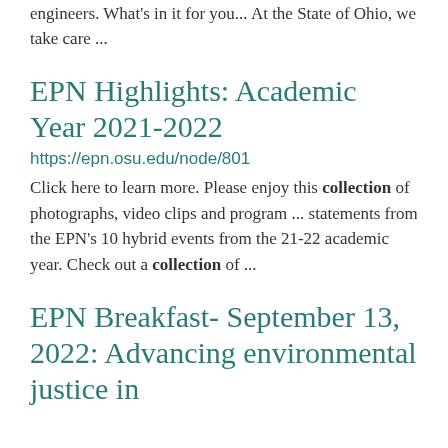engineers. What's in it for you... At the State of Ohio, we take care ...
EPN Highlights: Academic Year 2021-2022
https://epn.osu.edu/node/801
Click here to learn more. Please enjoy this collection of photographs, video clips and program ... statements from the EPN's 10 hybrid events from the 21-22 academic year. Check out a collection of ...
EPN Breakfast- September 13, 2022: Advancing environmental justice in